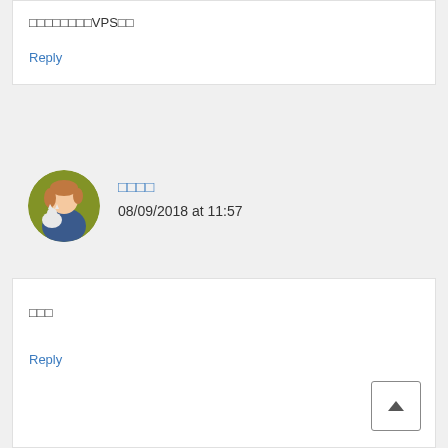□□□□□□□□VPS□□
Reply
[Figure (illustration): Round avatar image of an anime-style character holding a white cat, with olive/gold and blue tones]
□□□□
08/09/2018 at 11:57
□□□
Reply